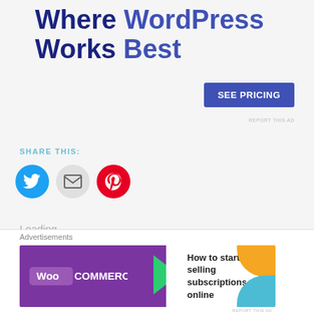Where WordPress Works Best
[Figure (other): SEE PRICING button (blue rectangle)]
REPORT THIS AD
SHARE THIS:
[Figure (other): Social share icons: Twitter (blue circle), Email (grey circle), Pinterest (red circle)]
Loading...
Best of 2016 – Yearly
[Figure (photo): Close-up photo of a woman's eyes]
[Figure (other): Close button (X in circle)]
Advertisements
[Figure (other): WooCommerce ad banner: How to start selling subscriptions online]